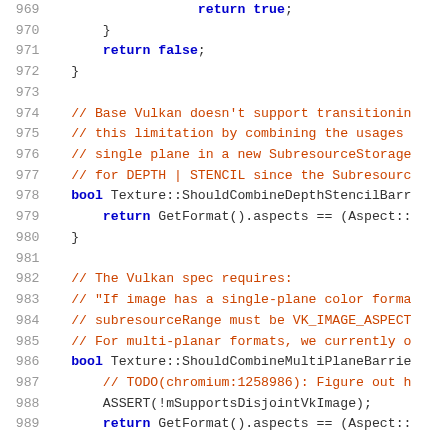[Figure (screenshot): Source code listing showing C++ code lines 969-989 with line numbers on the left in gray and code in monospace font. Keywords in dark blue, comments in orange-red.]